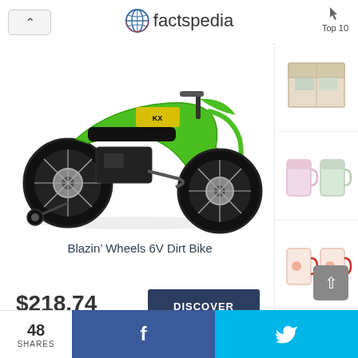factspedia — Top 10
[Figure (photo): Green Blazin' Wheels 6V electric dirt bike toy with black tires and training wheels]
[Figure (photo): Box of tissues or packaging product (sidebar item 1)]
[Figure (photo): Set of decorative mugs/cups in pastel colors (sidebar item 2)]
[Figure (photo): Set of decorative mugs with red handles (sidebar item 3)]
[Figure (photo): Decorative rooster figurine (sidebar item 4)]
Blazin’ Wheels 6V Dirt Bike
$218.74
DISCOVER
48 SHARES
f
🐦